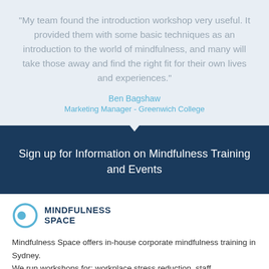"My team found the introduction workshop very useful. It provided them with some basic techniques as an introduction to the world of mindfulness, and many will take those away and find the right fit for their own lives and experiences."
Ben Bagshaw
Marketing Manager - Greenwich College
Sign up for Information on Mindfulness Training and Events
[Figure (logo): Mindfulness Space logo: teal circle outline with a smaller filled circle inside, beside bold text reading MINDFULNESS SPACE]
Mindfulness Space offers in-house corporate mindfulness training in Sydney.
We run workshops for: workplace stress reduction, staff